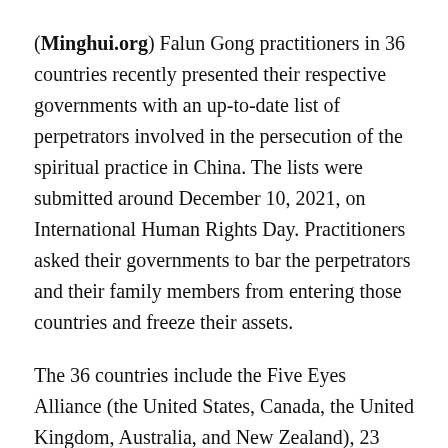(Minghui.org) Falun Gong practitioners in 36 countries recently presented their respective governments with an up-to-date list of perpetrators involved in the persecution of the spiritual practice in China. The lists were submitted around December 10, 2021, on International Human Rights Day. Practitioners asked their governments to bar the perpetrators and their family members from entering those countries and freeze their assets.
The 36 countries include the Five Eyes Alliance (the United States, Canada, the United Kingdom, Australia, and New Zealand), 23 countries in the European Union (France, Italy, Spain, the Netherlands, Poland, Belgium, Sweden, Austria, Ireland, Denmark, Finland, Czech Republic, Romania, Portugal, Greece, Hungary,